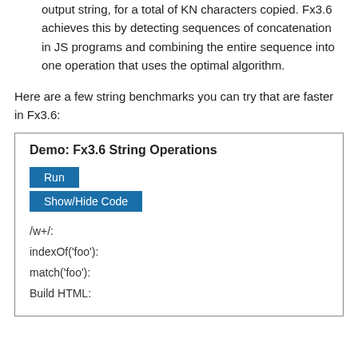output string, for a total of KN characters copied. Fx3.6 achieves this by detecting sequences of concatenation in JS programs and combining the entire sequence into one operation that uses the optimal algorithm.
Here are a few string benchmarks you can try that are faster in Fx3.6:
[Figure (screenshot): Demo box titled 'Demo: Fx3.6 String Operations' with Run and Show/Hide Code buttons, and items: /w+/:, indexOf('foo'):, match('foo'):, Build HTML:]